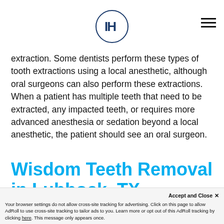[Logo: IH monogram in circle] [Hamburger menu icon]
extraction. Some dentists perform these types of tooth extractions using a local anesthetic, although oral surgeons can also perform these extractions. When a patient has multiple teeth that need to be extracted, any impacted teeth, or requires more advanced anesthesia or sedation beyond a local anesthetic, the patient should see an oral surgeon.
Wisdom Teeth Removal in Lubbock, TX
Dr. Ioppolo is a board-certified oral surgeon who performs...
Accept and Close ×
Your browser settings do not allow cross-site tracking for advertising. Click on this page to allow AdRoll to use cross-site tracking to tailor ads to you. Learn more or opt out of this AdRoll tracking by clicking here. This message only appears once.